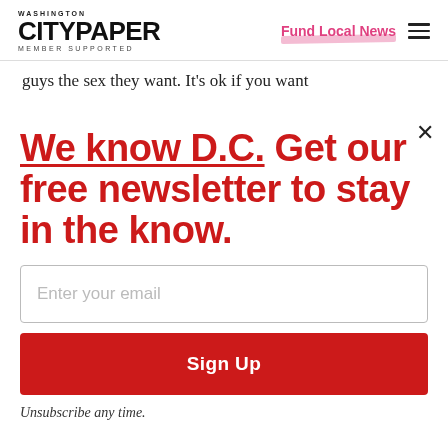WASHINGTON CITYPAPER MEMBER SUPPORTED
guys the sex they want. It's ok if you want
We know D.C. Get our free newsletter to stay in the know.
Enter your email
Sign Up
Unsubscribe any time.